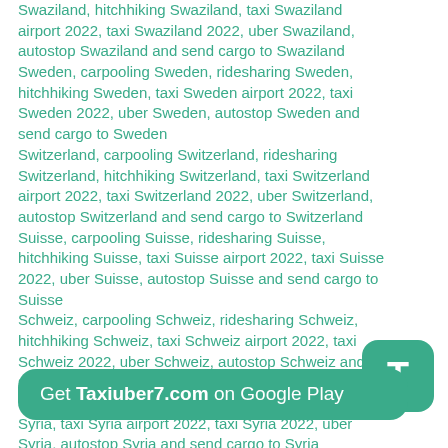Swaziland, hitchhiking Swaziland, taxi Swaziland airport 2022, taxi Swaziland 2022, uber Swaziland, autostop Swaziland and send cargo to Swaziland Sweden, carpooling Sweden, ridesharing Sweden, hitchhiking Sweden, taxi Sweden airport 2022, taxi Sweden 2022, uber Sweden, autostop Sweden and send cargo to Sweden Switzerland, carpooling Switzerland, ridesharing Switzerland, hitchhiking Switzerland, taxi Switzerland airport 2022, taxi Switzerland 2022, uber Switzerland, autostop Switzerland and send cargo to Switzerland Suisse, carpooling Suisse, ridesharing Suisse, hitchhiking Suisse, taxi Suisse airport 2022, taxi Suisse 2022, uber Suisse, autostop Suisse and send cargo to Suisse Schweiz, carpooling Schweiz, ridesharing Schweiz, hitchhiking Schweiz, taxi Schweiz airport 2022, taxi Schweiz 2022, uber Schweiz, autostop Schweiz and send cargo to Schweiz Syria, carpooling Syria, ridesharing Syria, hitchhiking Syria, taxi Syria airport 2022, taxi Syria 2022, uber Syria, autostop Syria and send cargo to Syria
[Figure (other): Green rounded square button with white letter T]
Get Taxiuber7.com on Google Play